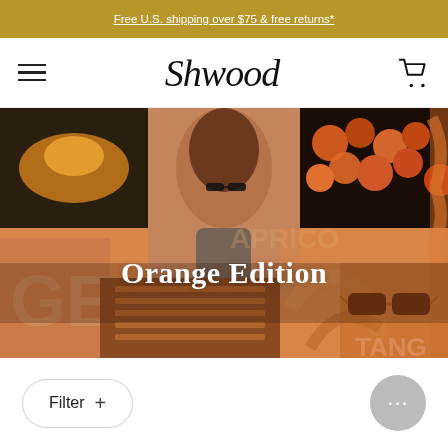Free U.S. shipping over $75 & free returns*
[Figure (logo): Shwood brand logo in cursive script, with hamburger menu icon on left and shopping cart icon on right]
[Figure (photo): Orange Edition hero collage: woman with curly hair wearing sunglasses, orange flowers, abstract orange brush strokes, orange sunglasses on orange surface, orange architectural stripes. Text overlay: 'Orange Edition']
Orange Edition